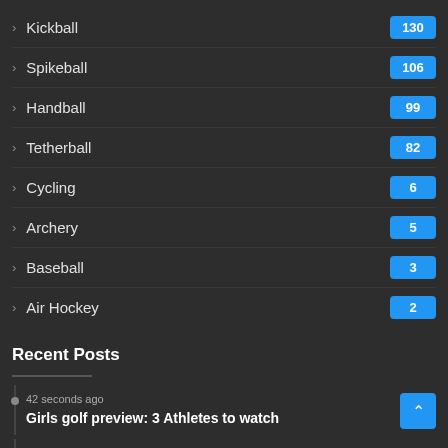Kickball 130
Spikeball 106
Handball 99
Tetherball 82
Cycling 6
Archery 5
Baseball 3
Air Hockey 2
Recent Posts
42 seconds ago
Girls golf preview: 3 Athletes to watch
2 mins ago
Save the date: Dare Arts’ fundraising auction ‘The Great Art Heist’ set to begin October 7